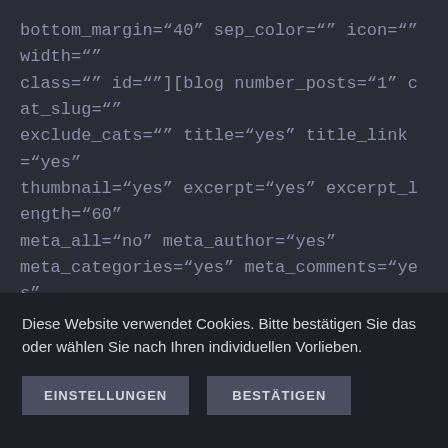bottom_margin="40" sep_color="" icon="" width="" class="" id=""][blog number_posts="1" cat_slug="" exclude_cats="" title="yes" title_link="yes" thumbnail="yes" excerpt="yes" excerpt_length="60" meta_all="no" meta_author="yes" meta_categories="yes" meta_comments="yes" meta_date="yes" meta_link="yes" meta_tags="yes" paging="no" scrolling="pagination" strip_html="yes" blog_grid_columns="3" blog_grid_column_spacing="40" layout="medium"
Diese Website verwendet Cookies. Bitte bestätigen Sie das oder wählen Sie nach Ihren individuellen Vorlieben.
EINSTELLUNGEN
BESTÄTIGEN